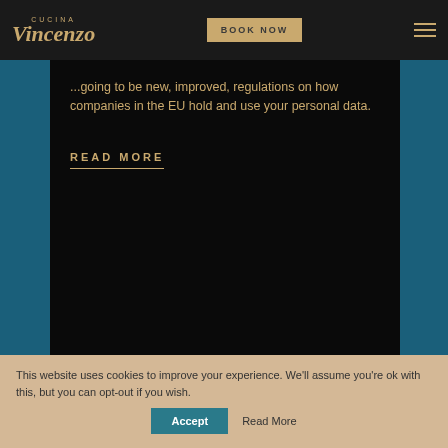Cucina Vincenzo — BOOK NOW
...going to be new, improved, regulations on how companies in the EU hold and use your personal data.
READ MORE
[Figure (logo): Cucina di Vincenzo restaurant logo on teal background with decorative lettering]
This website uses cookies to improve your experience. We'll assume you're ok with this, but you can opt-out if you wish.